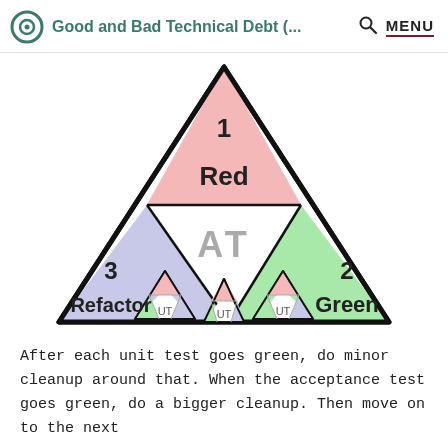Good and Bad Technical Debt (... MENU
[Figure (infographic): A large triangle divided into three sections: top section (pink) labeled '1 Red', bottom-left section (light purple) labeled '3 Refactor', bottom-right section (light green) labeled '2 Green'. The middle area is white and labeled 'AT' in gray. Inside the middle area are three smaller triangles each labeled 'UT'.]
After each unit test goes green, do minor cleanup around that. When the acceptance test goes green, do a bigger cleanup. Then move on to the next